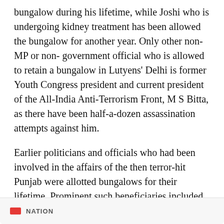bungalow during his lifetime, while Joshi who is undergoing kidney treatment has been allowed the bungalow for another year. Only other non-MP or non- government official who is allowed to retain a bungalow in Lutyens' Delhi is former Youth Congress president and current president of the All-India Anti-Terrorism Front, M S Bitta, as there have been half-a-dozen assassination attempts against him.
Earlier politicians and officials who had been involved in the affairs of the then terror-hit Punjab were allotted bungalows for their lifetime. Prominent such beneficiaries included former governor and union minister Arjun Singh and former Punjab DGP K P S Gill, both now deceased.
NATION